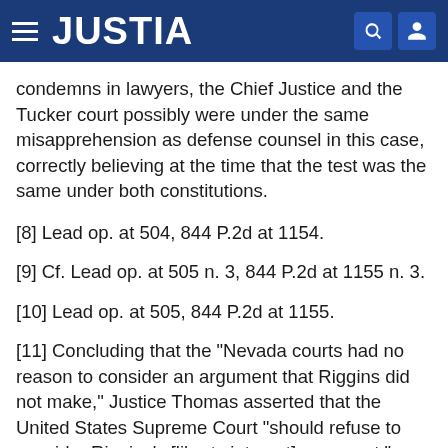JUSTIA
condemns in lawyers, the Chief Justice and the Tucker court possibly were under the same misapprehension as defense counsel in this case, correctly believing at the time that the test was the same under both constitutions.
[8] Lead op. at 504, 844 P.2d at 1154.
[9] Cf. Lead op. at 505 n. 3, 844 P.2d at 1155 n. 3.
[10] Lead op. at 505, 844 P.2d at 1155.
[11] Concluding that the "Nevada courts had no reason to consider an argument that Riggins did not make," Justice Thomas asserted that the United States Supreme Court "should refuse to consider Riggins's [liberty interest] argument," especially because it had granted certiorari only to determine other issues. Id. No other